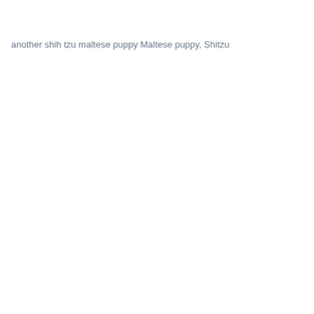another shih tzu maltese puppy Maltese puppy, Shitzu